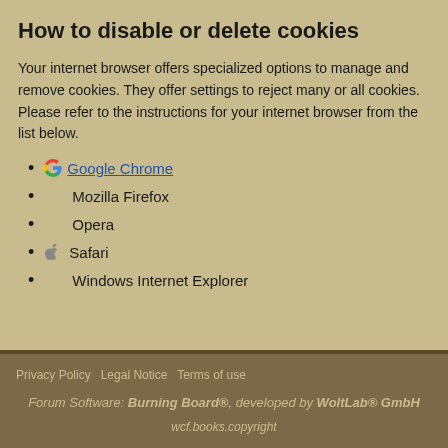How to disable or delete cookies
Your internet browser offers specialized options to manage and remove cookies. They offer settings to reject many or all cookies. Please refer to the instructions for your internet browser from the list below.
Google Chrome
Mozilla Firefox
Opera
Safari
Windows Internet Explorer
Privacy Policy  Legal Notice  Terms of use
Forum Software: Burning Board®, developed by WoltLab® GmbH
wcf.books.copyright